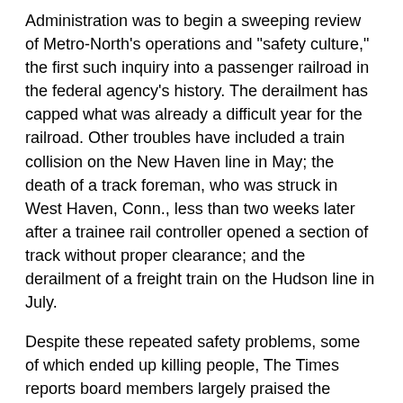Administration was to begin a sweeping review of Metro-North's operations and "safety culture," the first such inquiry into a passenger railroad in the federal agency's history. The derailment has capped what was already a difficult year for the railroad. Other troubles have included a train collision on the New Haven line in May; the death of a track foreman, who was struck in West Haven, Conn., less than two weeks later after a trainee rail controller opened a section of track without proper clearance; and the derailment of a freight train on the Hudson line in July.
Despite these repeated safety problems, some of which ended up killing people, The Times reports board members largely praised the transportation authority's leaders, including the chairman, Thomas F. Prendergast, and Metro-North's president, Howard R. Permut, even while they questioned the railroad's safety record. "He didn't cause this accident," one board member, Charles G. Moerdler, was quoted as saying of Mr. Permut.
"You see very clearly, firsthand, the impact of the incident on people's lives," Pendergast was quoted,  recalling the sight of victims being